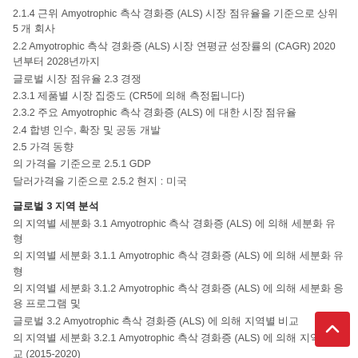2.1.4 근위 Amyotrophic 측삭 경화증 (ALS) 시장 점유율을 기준으로 상위 5 개 회사
2.2 Amyotrophic 측삭 경화증 (ALS) 시장 연평균 성장률의 (CAGR) 2020년부터 2028년까지
글로벌 시장 점유율 2.3 경쟁
2.3.1 제품별 시장 집중도 (CR5에 의해 측정됩니다)
2.3.2 주요 Amyotrophic 측삭 경화증 (ALS) 에 대한 시장 점유율
2.4 합병 인수, 확장 및 공동 개발
2.5 가격 동향
의 가격을 기준으로 2.5.1 GDP
달러가격을 기준으로 2.5.2 현지 : 미국
글로벌 3 지역 분석
의 지역별 세분화 3.1 Amyotrophic 측삭 경화증 (ALS) 에 의해 세분화 유형
의 지역별 세분화 3.1.1 Amyotrophic 측삭 경화증 (ALS) 에 의해 세분화 유형
의 지역별 세분화 3.1.2 Amyotrophic 측삭 경화증 (ALS) 에 의해 세분화 응용 프로그램 및
글로벌 3.2 Amyotrophic 측삭 경화증 (ALS) 에 의해 지역별 비교
의 지역별 세분화 3.2.1 Amyotrophic 측삭 경화증 (ALS) 에 의해 지역별 비교 (2015-2020)